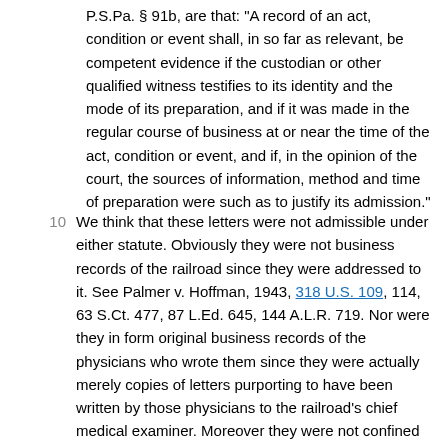P.S.Pa. § 91b, are that: "A record of an act, condition or event shall, in so far as relevant, be competent evidence if the custodian or other qualified witness testifies to its identity and the mode of its preparation, and if it was made in the regular course of business at or near the time of the act, condition or event, and if, in the opinion of the court, the sources of information, method and time of preparation were such as to justify its admission."
10 We think that these letters were not admissible under either statute. Obviously they were not business records of the railroad since they were addressed to it. See Palmer v. Hoffman, 1943, 318 U.S. 109, 114, 63 S.Ct. 477, 87 L.Ed. 645, 144 A.L.R. 719. Nor were they in form original business records of the physicians who wrote them since they were actually merely copies of letters purporting to have been written by those physicians to the railroad's chief medical examiner. Moreover they were not confined to a record of objective acts, conditions, transactions, occurrences or events which took place at or near the time of recording, as the statutes require. For in addition to statements of the observed condition of the plaintiff they contain many facts relating to his prior history, apparently given by him to the writers, as well as the writers' subjective findings and conclusions. The cited statutes clearly do not authorize the